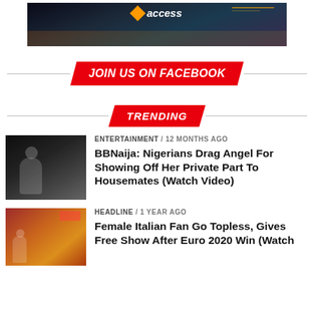[Figure (other): Advertisement banner with 'access' branding logo and night cityscape industrial background]
JOIN US ON FACEBOOK
TRENDING
[Figure (photo): Thumbnail photo related to BBNaija story]
ENTERTAINMENT / 12 months ago
BBNaija: Nigerians Drag Angel For Showing Off Her Private Part To Housemates (Watch Video)
[Figure (photo): Thumbnail photo related to Female Italian Fan Euro 2020 story]
HEADLINE / 1 year ago
Female Italian Fan Go Topless, Gives Free Show After Euro 2020 Win (Watch